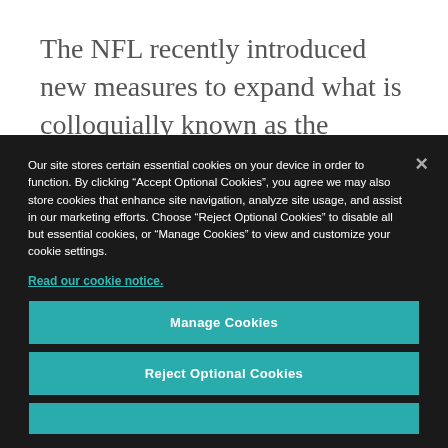The NFL recently introduced new measures to expand what is colloquially known as the “Rooney Rule,” which was instituted to promote and
Our site stores certain essential cookies on your device in order to function. By clicking “Accept Optional Cookies”, you agree we may also store cookies that enhance site navigation, analyze site usage, and assist in our marketing efforts. Choose “Reject Optional Cookies” to disable all but essential cookies, or “Manage Cookies” to view and customize your cookie settings.
Read our cookie notice.
Manage Cookies
Reject Optional Cookies